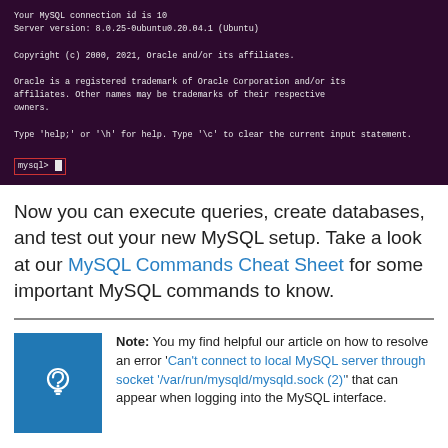[Figure (screenshot): Terminal window showing MySQL login screen with dark purple background. Shows MySQL connection id 10, server version 8.0.25-0ubuntu0.20.04.1 (Ubuntu), copyright notice, Oracle trademark notice, help prompt, and mysql> prompt with cursor inside a red border box.]
Now you can execute queries, create databases, and test out your new MySQL setup. Take a look at our MySQL Commands Cheat Sheet for some important MySQL commands to know.
Note: You my find helpful our article on how to resolve an error 'Can't connect to local MySQL server through socket '/var/run/mysqld/mysqld.sock (2)' that can appear when logging into the MySQL interface.